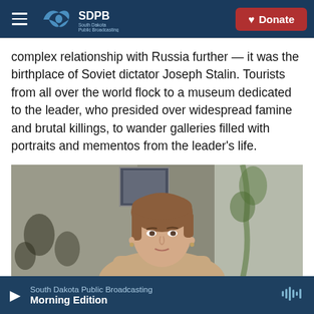SDPB South Dakota Public Broadcasting | Donate
complex relationship with Russia further — it was the birthplace of Soviet dictator Joseph Stalin. Tourists from all over the world flock to a museum dedicated to the leader, who presided over widespread famine and brutal killings, to wander galleries filled with portraits and mementos from the leader's life.
[Figure (photo): A woman with short brown hair seated indoors, with a floral wallpaper background and window with plants visible behind her.]
South Dakota Public Broadcasting | Morning Edition